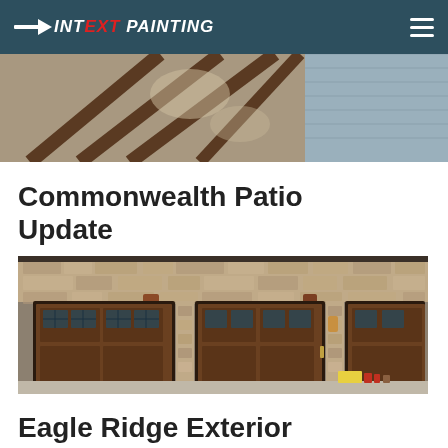INT EXT PAINTING
[Figure (photo): Patio ceiling with wooden beams and decking, viewed from below at an angle, showing sunlight and blue sky]
Commonwealth Patio Update
[Figure (photo): Exterior of a stone house showing three large wooden garage doors with glass pane windows, stone masonry surrounds, and construction supplies on the driveway]
Eagle Ridge Exterior